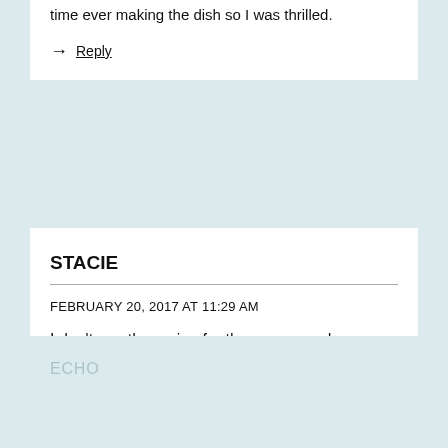time ever making the dish so I was thrilled.
→ Reply
STACIE
FEBRUARY 20, 2017 AT 11:29 AM
I don't see the recipe for the carne asada. Anyway you can email it to me. I would love to surprise my daughter with this meal. THANKS
→ Reply
ECHO